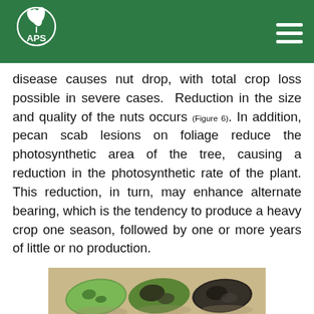APS
disease causes nut drop, with total crop loss possible in severe cases. Reduction in the size and quality of the nuts occurs (Figure 6). In addition, pecan scab lesions on foliage reduce the photosynthetic area of the tree, causing a reduction in the photosynthetic rate of the plant. This reduction, in turn, may enhance alternate bearing, which is the tendency to produce a heavy crop one season, followed by one or more years of little or no production.
[Figure (photo): Six pecan nuts showing scab disease progression from green/lightly infected (left) to heavily infected dark brown/black (right), arranged in two rows of three on a tan background.]